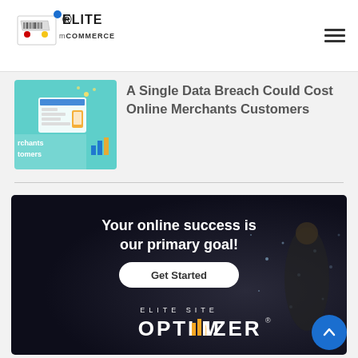[Figure (logo): Elite mCommerce logo with shopping cart icon and barcode]
[Figure (illustration): Thumbnail image for article about data breach, showing dashboard/commerce UI on teal background with text 'rchants tomers']
A Single Data Breach Could Cost Online Merchants Customers
[Figure (photo): Banner advertisement: dark background with athlete sprinting, text 'Your online success is our primary goal!', button 'Get Started', branding 'ELITE SITE OPTIMIZER']